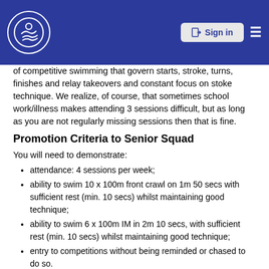Sign in
of competitive swimming that govern starts, stroke, turns, finishes and relay takeovers and constant focus on stoke technique. We realize, of course, that sometimes school work/illness makes attending 3 sessions difficult, but as long as you are not regularly missing sessions then that is fine.
Promotion Criteria to Senior Squad
You will need to demonstrate:
attendance: 4 sessions per week;
ability to swim 10 x 100m front crawl on 1m 50 secs with sufficient rest (min. 10 secs) whilst maintaining good technique;
ability to swim 6 x 100m IM in 2m 10 secs, with sufficient rest (min. 10 secs) whilst maintaining good technique;
entry to competitions without being reminded or chased to do so.
Subject to the above, the Head Coach will decide when a swimmer is mentally and physically ready to be promoted, in consultation with Squad Coaches.